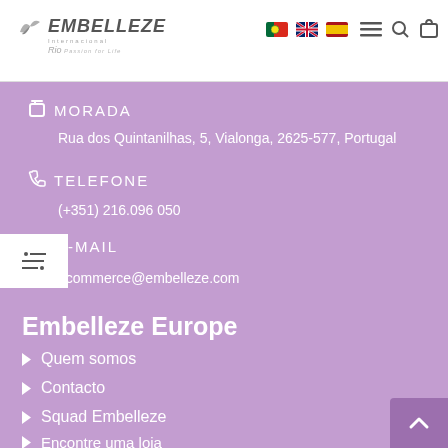[Figure (logo): Embelleze Internacional Rio logo with bird icon, white background header]
MORADA
Rua dos Quintanilhas, 5, Vialonga, 2625-577, Portugal
TELEFONE
(+351) 216.096 050
E-MAIL
ecommerce@embelleze.com
Embelleze Europe
Quem somos
Contacto
Squad Embelleze
Encontre uma loja
Blog
Compras